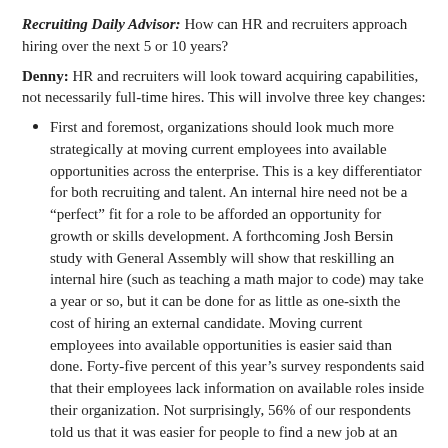Recruiting Daily Advisor: How can HR and recruiters approach hiring over the next 5 or 10 years?
Denny: HR and recruiters will look toward acquiring capabilities, not necessarily full-time hires. This will involve three key changes:
First and foremost, organizations should look much more strategically at moving current employees into available opportunities across the enterprise. This is a key differentiator for both recruiting and talent. An internal hire need not be a “perfect” fit for a role to be afforded an opportunity for growth or skills development. A forthcoming Josh Bersin study with General Assembly will show that reskilling an internal hire (such as teaching a math major to code) may take a year or so, but it can be done for as little as one-sixth the cost of hiring an external candidate. Moving current employees into available opportunities is easier said than done. Forty-five percent of this year’s survey respondents said that their employees lack information on available roles inside their organization. Not surprisingly, 56% of our respondents told us that it was easier for people to find a new job at an outside organization than with their current employer.
The second source of talent is the “alternative...